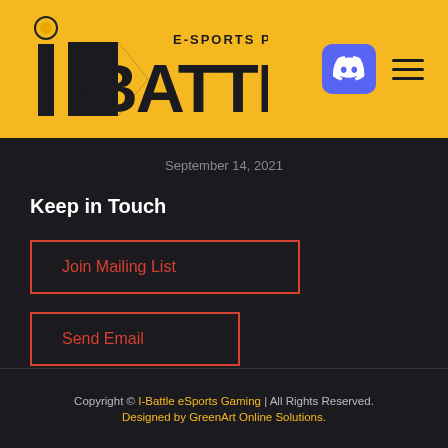[Figure (logo): i-Battle E-Sports PC Gaming logo on golden/yellow header background with Discord icon and hamburger menu]
September 14, 2021
Keep in Touch
Join Mailing List
Send Email
Copyright © I-Battle eSports Gaming | All Rights Reserved. Designed by GreenArt Online Solutions.